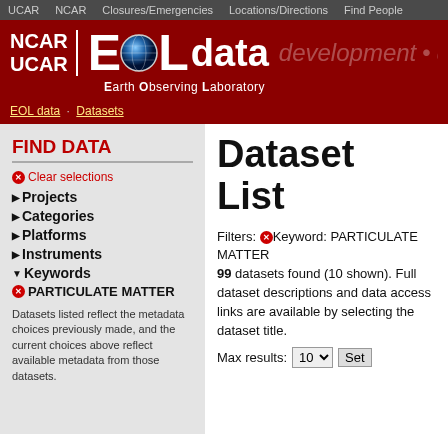UCAR  NCAR  Closures/Emergencies  Locations/Directions  Find People
[Figure (logo): NCAR UCAR EOL data Earth Observing Laboratory header logo with globe icon on dark red background]
EOL data · Datasets
FIND DATA
Clear selections
Projects
Categories
Platforms
Instruments
Keywords
PARTICULATE MATTER
Datasets listed reflect the metadata choices previously made, and the current choices above reflect available metadata from those datasets.
Dataset List
Filters: Keyword: PARTICULATE MATTER
99 datasets found (10 shown). Full dataset descriptions and data access links are available by selecting the dataset title.
Max results: 10  Set